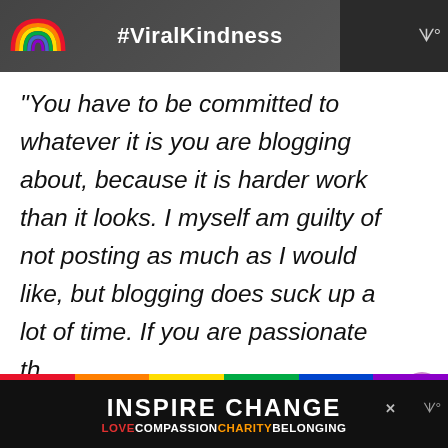[Figure (screenshot): Top dark banner with rainbow graphic on left and #ViralKindness hashtag text in white, with wavy icon on right]
“You have to be committed to whatever it is you are blogging about, because it is harder work than it looks. I myself am guilty of not posting as much as I would like, but blogging does suck up a lot of time. If you are passionate th...
[Figure (infographic): Bottom black banner with rainbow stripe, INSPIRE CHANGE text in white bold, and LOVE COMPASSION CHARITY BELONGING text in colored words below. Close X button visible. Wavy icon on right.]